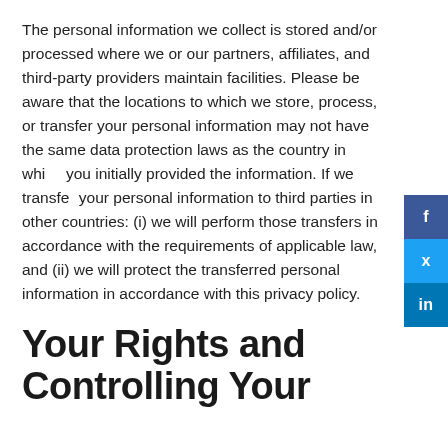The personal information we collect is stored and/or processed where we or our partners, affiliates, and third-party providers maintain facilities. Please be aware that the locations to which we store, process, or transfer your personal information may not have the same data protection laws as the country in which you initially provided the information. If we transfer your personal information to third parties in other countries: (i) we will perform those transfers in accordance with the requirements of applicable law, and (ii) we will protect the transferred personal information in accordance with this privacy policy.
Your Rights and Controlling Your